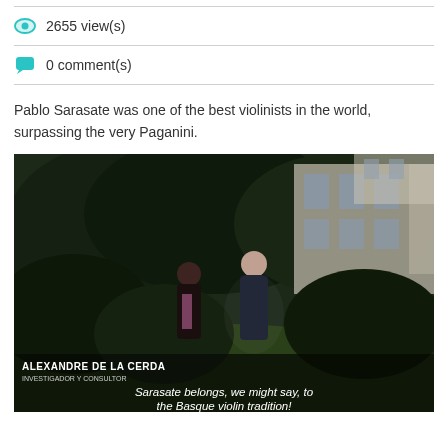2655 view(s)
0 comment(s)
Pablo Sarasate was one of the best violinists in the world, surpassing the very Paganini.
[Figure (screenshot): Video thumbnail showing two people standing in a garden with trees and a building in the background. Subtitle overlay at bottom shows speaker name 'Alexandre de la Cerda' and subtitle text 'Sarasate belongs, we might say, to the Basque violin tradition!']